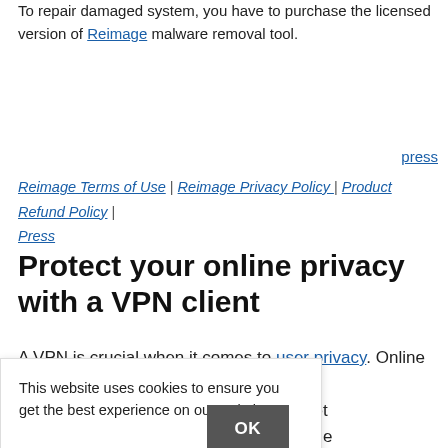To repair damaged system, you have to purchase the licensed version of Reimage malware removal tool.
press
Reimage Terms of Use | Reimage Privacy Policy | Product Refund Policy | Press
Protect your online privacy with a VPN client
A VPN is crucial when it comes to user privacy. Online ...ed by social ...o your Internet ...if you apply the ...you can still be
This website uses cookies to ensure you get the best experience on our website. Privacy policy OK